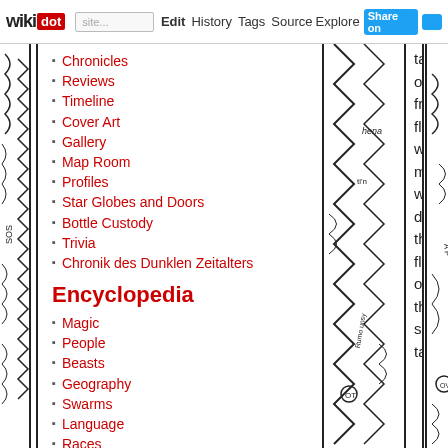wikidot | site Edit History Tags Source Explore Share on [Twitter]
Chronicles
Reviews
Timeline
Cover Art
Gallery
Map Room
Profiles
Star Globes and Doors
Bottle Custody
Trivia
Chronik des Dunklen Zeitalters
Encyclopedia
Magic
People
Beasts
Geography
Swarms
Language
Races
Religion
table of free-floating white marble which dominated the floor of the senate table.
A number of senators were already there, milling around the kelakirikus, a free-floating table of
[Figure (illustration): Black and white hand-drawn decorative border illustration with abstract patterns, zigzag lines, and lettering]